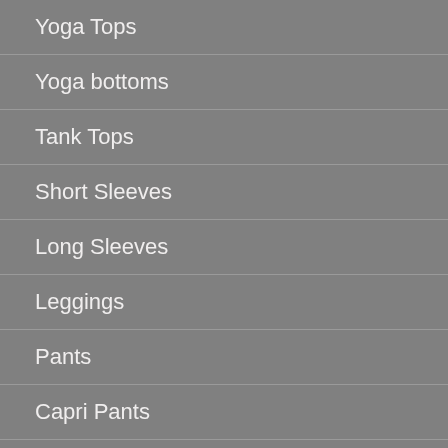Yoga Tops
Yoga bottoms
Tank Tops
Short Sleeves
Long Sleeves
Leggings
Pants
Capri Pants
Harem Pants
INFORMATION
Production